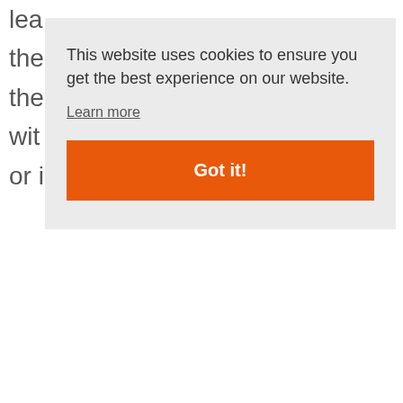lea
the
the
wit
or i
This website uses cookies to ensure you get the best experience on our website.
Learn more
Got it!